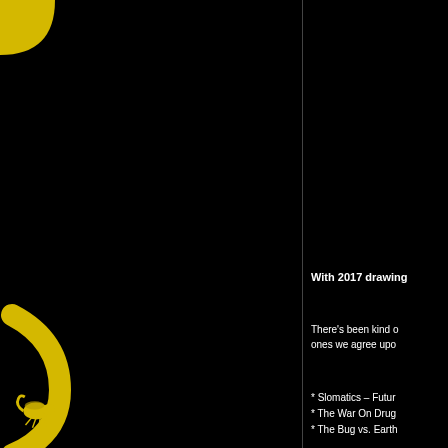[Figure (illustration): Black background left panel with yellow decorative shapes: a rounded corner shape at top-left, a parenthesis/bracket shape in the middle-left, a half-circle shape below it, and a small insect/scorpion icon at the bottom-left. A vertical dividing line separates left and right panels.]
With 2017 drawing
There's been kind o ones we agree upo
* Slomatics – Futur
* The War On Drug
* The Bug vs. Earth